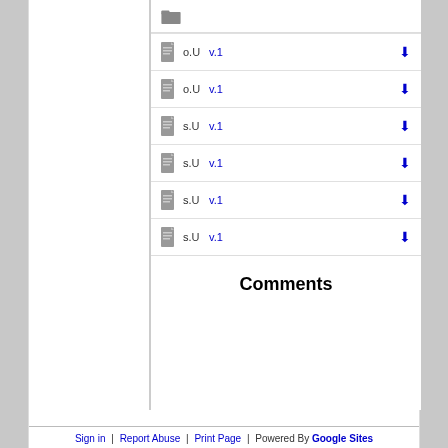[Figure (other): Folder icon]
o.U  v.1  [download]
o.U  v.1  [download]
s.U  v.1  [download]
s.U  v.1  [download]
s.U  v.1  [download]
s.U  v.1  [download]
Comments
Sign in  |  Report Abuse  |  Print Page  |  Powered By  Google Sites